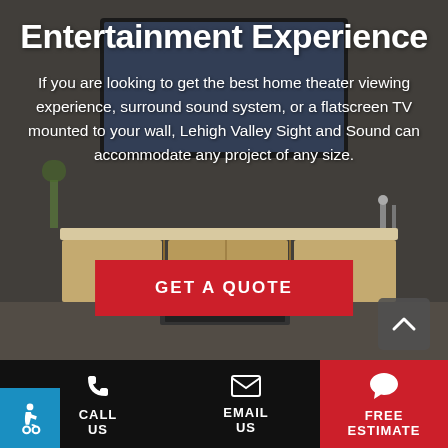[Figure (photo): Background photo of a modern living room with a flatscreen TV mounted above a wooden media console, with dimming overlay]
Entertainment Experience
If you are looking to get the best home theater viewing experience, surround sound system, or a flatscreen TV mounted to your wall, Lehigh Valley Sight and Sound can accommodate any project of any size.
GET A QUOTE
CALL US | EMAIL US | FREE ESTIMATE